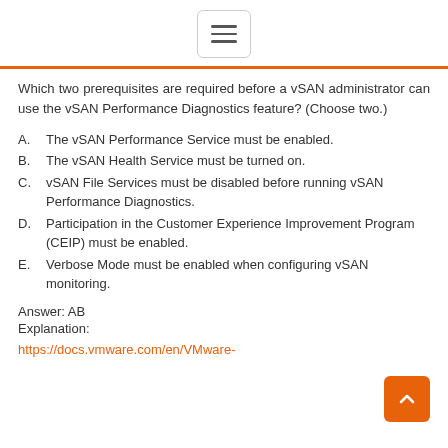☰
Which two prerequisites are required before a vSAN administrator can use the vSAN Performance Diagnostics feature? (Choose two.)
A.   The vSAN Performance Service must be enabled.
B.   The vSAN Health Service must be turned on.
C.   vSAN File Services must be disabled before running vSAN Performance Diagnostics.
D.   Participation in the Customer Experience Improvement Program (CEIP) must be enabled.
E.   Verbose Mode must be enabled when configuring vSAN monitoring.
Answer: AB
Explanation:
https://docs.vmware.com/en/VMware-